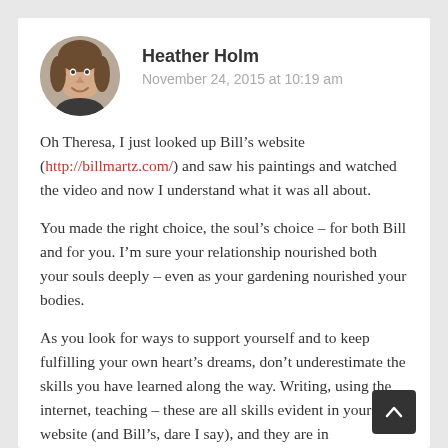[Figure (photo): Circular avatar photo of Heather Holm, a woman with short hair, smiling, outdoors]
Heather Holm
November 24, 2015 at 10:19 am
Oh Theresa, I just looked up Bill's website (http://billmartz.com/) and saw his paintings and watched the video and now I understand what it was all about.
You made the right choice, the soul's choice – for both Bill and for you. I'm sure your relationship nourished both your souls deeply – even as your gardening nourished your bodies.
As you look for ways to support yourself and to keep fulfilling your own heart's dreams, don't underestimate the skills you have learned along the way. Writing, using the internet, teaching – these are all skills evident in your website (and Bill's, dare I say), and they are in